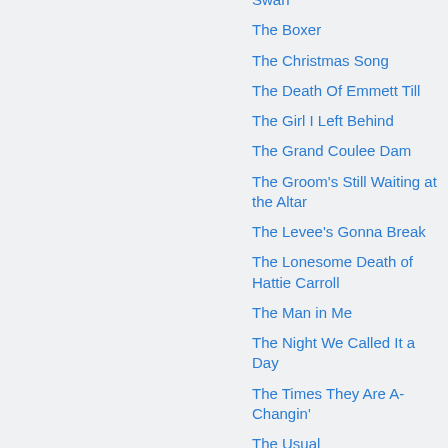Swan
The Boxer
The Christmas Song
The Death Of Emmett Till
The Girl I Left Behind
The Grand Coulee Dam
The Groom's Still Waiting at the Altar
The Levee's Gonna Break
The Lonesome Death of Hattie Carroll
The Man in Me
The Night We Called It a Day
The Times They Are A-Changin'
The Usual